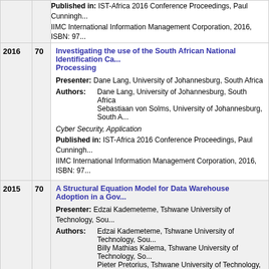| Year | Score | Content |
| --- | --- | --- |
|  |  | Published in: IST-Africa 2016 Conference Proceedings, Paul Cunningh...
IIMC International Information Management Corporation, 2016, ISBN: 97... |
| 2016 | 70 | Investigating the use of the South African National Identification Ca... Processing
Presenter: Dane Lang, University of Johannesburg, South Africa
Authors: Dane Lang, University of Johannesburg, South Africa
         Sebastiaan von Solms, University of Johannesburg, South A...
Cyber Security, Application
Published in: IST-Africa 2016 Conference Proceedings, Paul Cunningh...
IIMC International Information Management Corporation, 2016, ISBN: 97... |
| 2015 | 70 | A Structural Equation Model for Data Warehouse Adoption in a Gov...
Presenter: Edzai Kademeteme, Tshwane University of Technology, Sou...
Authors: Edzai Kademeteme, Tshwane University of Technology, Sou...
         Billy Mathias Kalema, Tshwane University of Technology, So...
         Pieter Pretorius, Tshwane University of Technology, South A...
eGovernment, Application
Published in: IST-Africa 2015 Conference Proceedings, Paul Cunningh...
IIMC International Information Management Corporation, 2015, ISBN: 97... |
| 2012 | 70 | Harnessing Cyber-infrastructure for Local Scale Climate Change R...
Presenter: Anwar Vahed, CSIR, South Africa
Authors: Francois Engelbrecht, CSIR, South Africa |